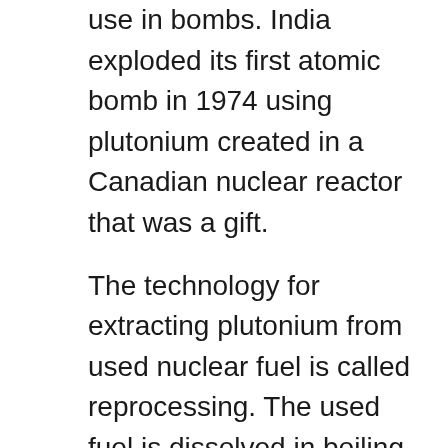use in bombs. India exploded its first atomic bomb in 1974 using plutonium created in a Canadian nuclear reactor that was a gift.
The technology for extracting plutonium from used nuclear fuel is called reprocessing. The used fuel is dissolved in boiling nitric acid, and plutonium is separated from the other radioactive waste byproducts using chemistry. This is done not only to make bombs, but also to re-use the plutonium as new reactor fuel. In this way plutonium can replace uranium as